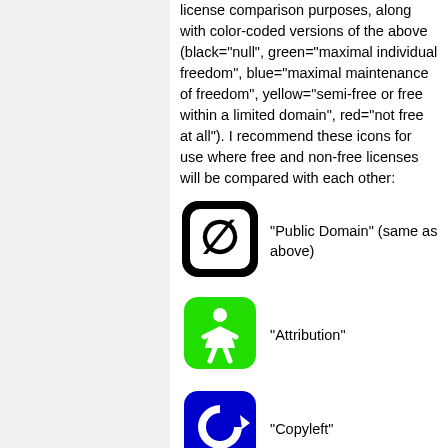license comparison purposes, along with color-coded versions of the above (black="null", green="maximal individual freedom", blue="maximal maintenance of freedom", yellow="semi-free or free within a limited domain", red="not free at all"). I recommend these icons for use where free and non-free licenses will be compared with each other:
[Figure (illustration): Black rounded-square icon with a slashed zero (Ø) symbol representing Public Domain]
"Public Domain" (same as above)
[Figure (illustration): Green rounded-square icon with a person/figure symbol representing Attribution]
"Attribution"
[Figure (illustration): Blue rounded-square icon with a circular arrow/copyleft symbol representing Copyleft]
"Copyleft"